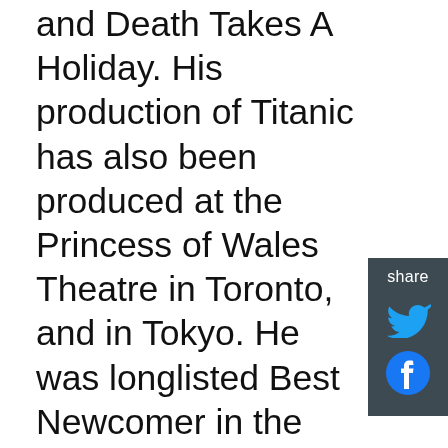and Death Takes A Holiday. His production of Titanic has also been produced at the Princess of Wales Theatre in Toronto, and in Tokyo. He was longlisted Best Newcomer in the 2011 Evening Standard Awards for Parade. He was named Best Director at the 2011 The Offies for Me And Juliet at the Finborough. He directed Allegro, Grey Gardens, Grand Hotel, Titanic, Victor/Victoria, Mack & Mabel and Parade (Southwark Playhouse); The Smallest Show on Earth (Mercury Theatre, Colchester & tour) Jerry Herman's The Grand Tour (Finborough); The Mikado (Charing Cross Theatre); Daisy Pulls It Off, Irving Berlin's Call Me Madam! (Upstairs At The Gatehouse); the European première of I Sing!, Divorce Me, Darling!, Annie Get Your Gun, The Pajama Game and sold-out all-male adaptations of Gilbert and Sullivan's HMS Pinafore and The Mikado (Union); Noël and Gertie (Cockpit); the European première of The Unsinkable Molly Brown (Landor); the European première of Sweet Charity (Llandover);
[Figure (other): Share sidebar with Twitter and Facebook icons on dark grey background]